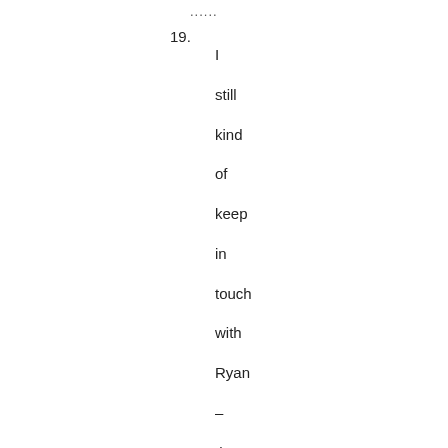......
19. I
still
kind
of
keep
in
touch
with
Ryan
–
the
keyboard
player
from
stretch.
I
played
harmonica
with
wave
o
blues,
the
hinge,
and
who